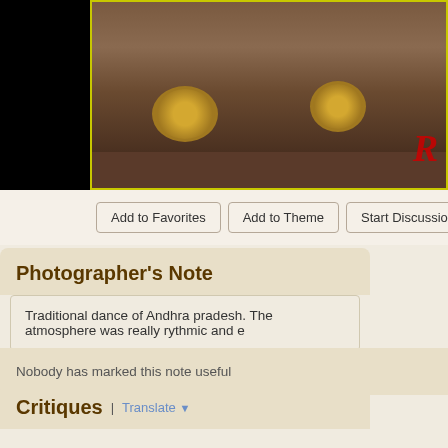[Figure (photo): Photo of dancer's feet with traditional anklets/ghungroo on a brown earthen floor, black background with yellow border frame and red watermark letter 'R' in bottom right]
Add to Favorites | Add to Theme | Start Discussion | Po...
Photographer's Note
Traditional dance of Andhra pradesh. The atmosphere was really rythmic and e...
Nobody has marked this note useful
Critiques | Translate